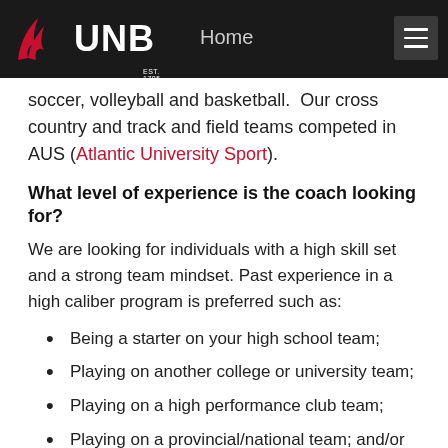UNB - University of New Brunswick | Home
soccer, volleyball and basketball. Our cross country and track and field teams competed in AUS (Atlantic University Sport).
What level of experience is the coach looking for?
We are looking for individuals with a high skill set and a strong team mindset. Past experience in a high caliber program is preferred such as:
Being a starter on your high school team;
Playing on another college or university team;
Playing on a high performance club team;
Playing on a provincial/national team; and/or